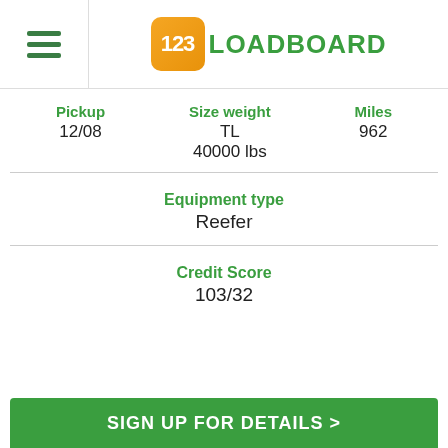123LOADBOARD
Pickup 12/08
Size weight TL 40000 lbs
Miles 962
Equipment type Reefer
Credit Score 103/32
SIGN UP FOR DETAILS >